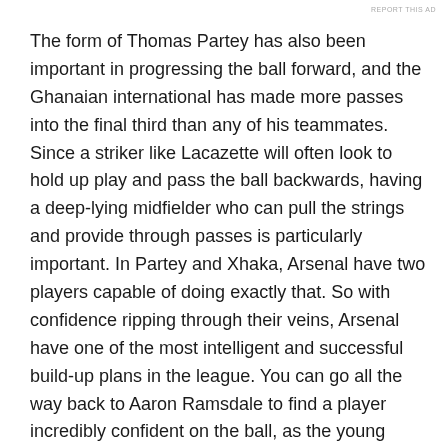REPORT THIS AD
The form of Thomas Partey has also been important in progressing the ball forward, and the Ghanaian international has made more passes into the final third than any of his teammates. Since a striker like Lacazette will often look to hold up play and pass the ball backwards, having a deep-lying midfielder who can pull the strings and provide through passes is particularly important. In Partey and Xhaka, Arsenal have two players capable of doing exactly that. So with confidence ripping through their veins, Arsenal have one of the most intelligent and successful build-up plans in the league. You can go all the way back to Aaron Ramsdale to find a player incredibly confident on the ball, as the young keeper has an underrated ability to pick out a pass from anywhere on the pitch. His ability to go long on goal kicks frequently frees Arsenal from high-pressure situations, and simultaneously